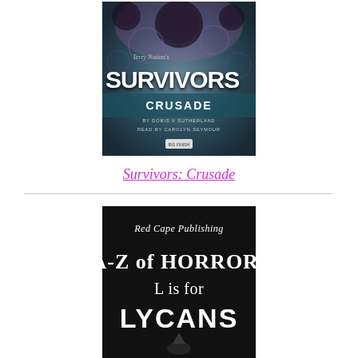[Figure (illustration): Book/audio cover for 'Survivors: Crusade' by Doris V Sutherland, read by Carolyn Seymour. Dark teal/purple background with circular cell-like bubbles. Large white bold text 'SURVIVORS', subtitle 'CRUSADE', small text 'by DORIS V SUTHERLAND' and 'READ BY CAROLYN SEYMOUR'. Small Big Finish logo at bottom center.]
Survivors: Crusade
[Figure (illustration): Book cover for 'A-Z of HORROR: L is for LYCANS' by Red Cape Publishing. Black background with white serif/display text. Top italic text 'Red Cape Publishing', then large bold 'A-Z of HORROR:', 'L is for', and large 'LYCANS'. Small wolf/figure silhouette at bottom.]